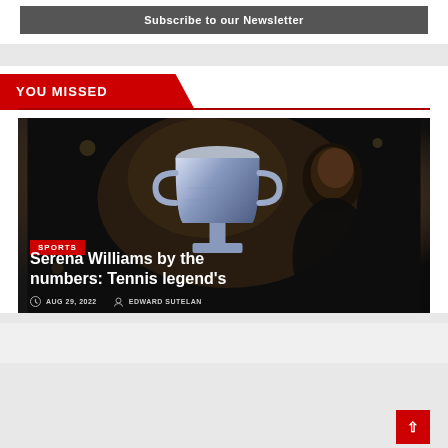Subscribe to our Newsletter
YOU MISSED
[Figure (photo): Serena Williams holding a large tennis trophy (Australian Open style) against a dark background, smiling]
SPORTS
Serena Williams by the numbers: Tennis legend's
AUG 29, 2022   EDWARD SUTELAN